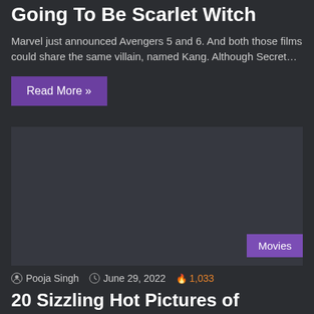Going To Be Scarlet Witch
Marvel just announced Avengers 5 and 6. And both those films could share the same villain, named Kang. Although Secret…
Read More »
[Figure (photo): Article thumbnail image placeholder with Movies badge in bottom right corner]
Pooja Singh  June 29, 2022  1,033
20 Sizzling Hot Pictures of Elizabeth Olsen